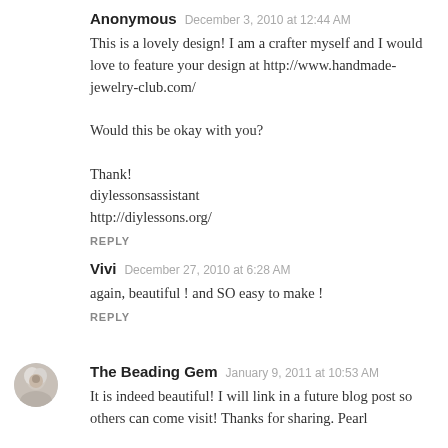Anonymous   December 3, 2010 at 12:44 AM
This is a lovely design! I am a crafter myself and I would love to feature your design at http://www.handmade-jewelry-club.com/

Would this be okay with you?

Thank!
diylessonsassistant
http://diylessons.org/
REPLY
Vivi   December 27, 2010 at 6:28 AM
again, beautiful ! and SO easy to make !
REPLY
[Figure (photo): Small circular avatar photo of The Beading Gem, showing a woman with gray/white hair]
The Beading Gem   January 9, 2011 at 10:53 AM
It is indeed beautiful! I will link in a future blog post so others can come visit! Thanks for sharing. Pearl